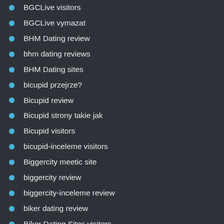BGCLive visitors
BGCLive vymazat
BHM Dating review
bhm dating reviews
BHM Dating sites
bicupid przejrze?
Bicupid review
Bicupid strony takie jak
Bicupid visitors
bicupid-inceleme visitors
Biggercity meetic site
biggercity review
biggercity-inceleme review
biker dating review
Biker Dating Sites visitors